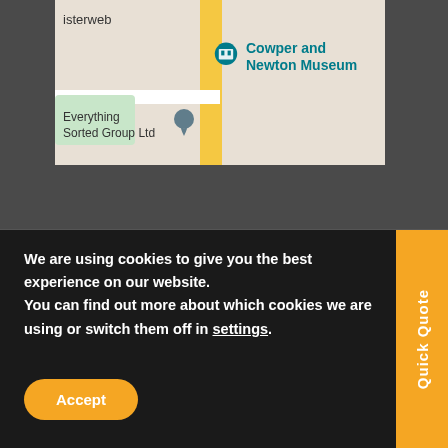[Figure (map): Google Maps view showing Cowper and Newton Museum location with a teal museum pin, a grey location pin near 'Everything Sorted Group Ltd', yellow road, and green areas. Text visible: 'isterweb', 'Cowper and Newton Museum', 'Everything', 'Sorted Group Ltd']
Open Monday To Friday 9am – 5pm
We are using cookies to give you the best experience on our website.
You can find out more about which cookies we are using or switch them off in settings.
Accept
Quick Quote